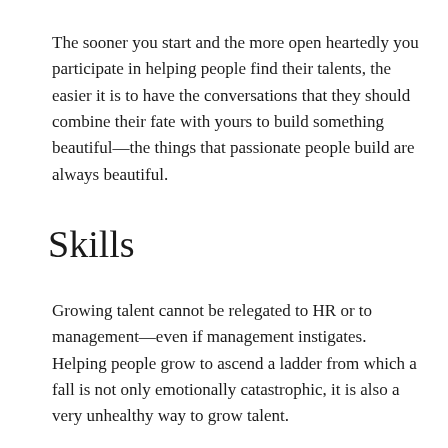The sooner you start and the more open heartedly you participate in helping people find their talents, the easier it is to have the conversations that they should combine their fate with yours to build something beautiful—the things that passionate people build are always beautiful.
Skills
Growing talent cannot be relegated to HR or to management—even if management instigates. Helping people grow to ascend a ladder from which a fall is not only emotionally catastrophic, it is also a very unhealthy way to grow talent.